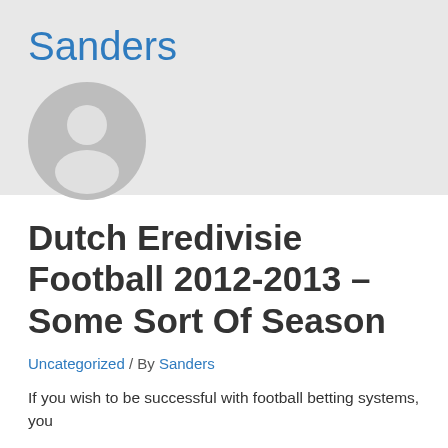Sanders
[Figure (illustration): Default user avatar — circular grey icon with white silhouette of a person (head circle and shoulders)]
Dutch Eredivisie Football 2012-2013 – Some Sort Of Season
Uncategorized / By Sanders
If you wish to be successful with football betting systems, you